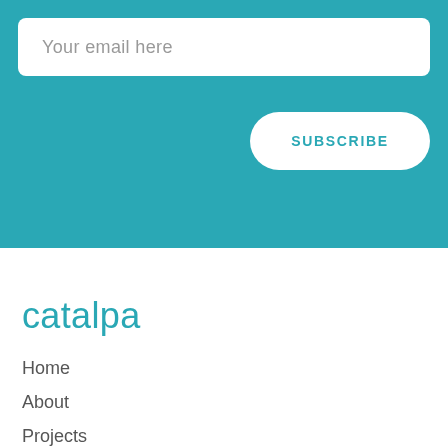Your email here
SUBSCRIBE
[Figure (logo): catalpa logo in teal text]
Home
About
Projects